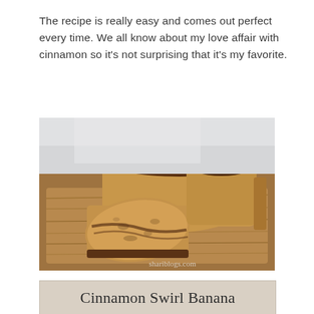The recipe is really easy and comes out perfect every time. We all know about my love affair with cinnamon so it's not surprising that it's my favorite.
[Figure (photo): Sliced cinnamon swirl banana bread loaf on a wooden cutting board, showing dark cinnamon swirl topping and moist interior crumb. Watermark reads shari blogs.com]
Cinnamon Swirl Banana